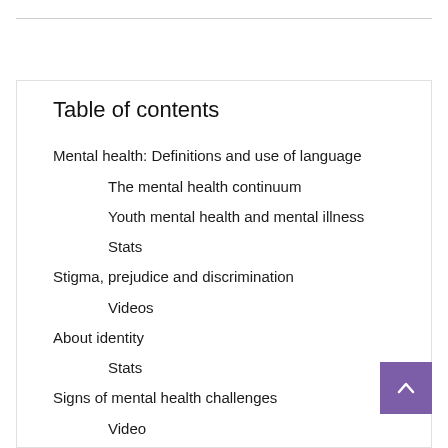Table of contents
Mental health: Definitions and use of language
The mental health continuum
Youth mental health and mental illness
Stats
Stigma, prejudice and discrimination
Videos
About identity
Stats
Signs of mental health challenges
Video
Mental health challenges continue...